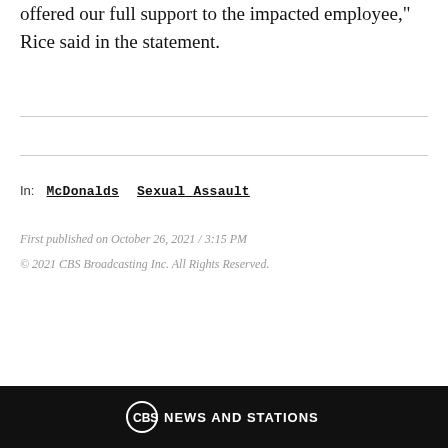offered our full support to the impacted employee," Rice said in the statement.
In: McDonalds   Sexual Assault
First published on October 26, 2021 / 3:15 PM
© 2021 CBS Broadcasting Inc. All Rights Reserved.
[Figure (logo): CBS News and Stations logo in white on black bar at bottom of page]